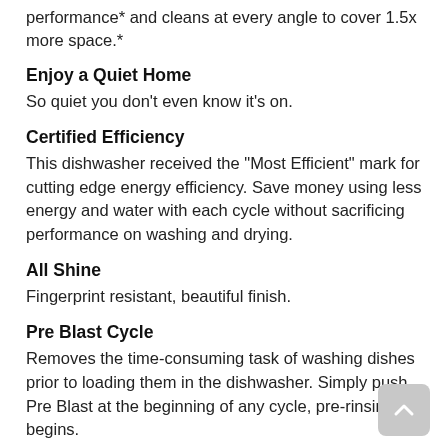performance* and cleans at every angle to cover 1.5x more space.*
Enjoy a Quiet Home
So quiet you don't even know it's on.
Certified Efficiency
This dishwasher received the "Most Efficient" mark for cutting edge energy efficiency. Save money using less energy and water with each cycle without sacrificing performance on washing and drying.
All Shine
Fingerprint resistant, beautiful finish.
Pre Blast Cycle
Removes the time-consuming task of washing dishes prior to loading them in the dishwasher. Simply push Pre Blast at the beginning of any cycle, pre-rinsing begins.
3rd Rack
Provides up to 30% more space for other items to